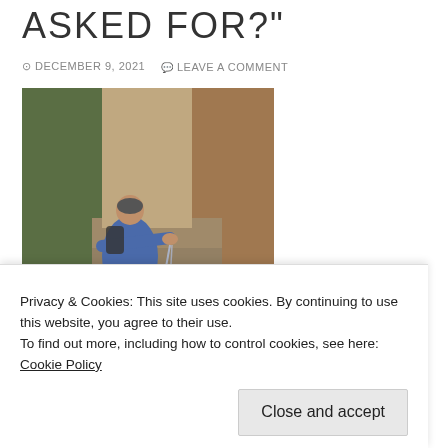ASKED FOR?"
DECEMBER 9, 2021   LEAVE A COMMENT
[Figure (photo): A man in a blue shirt standing near a waterfall and rocky canyon, holding water in his cupped hands and letting it drip down.]
Privacy & Cookies: This site uses cookies. By continuing to use this website, you agree to their use.
To find out more, including how to control cookies, see here: Cookie Policy
Close and accept